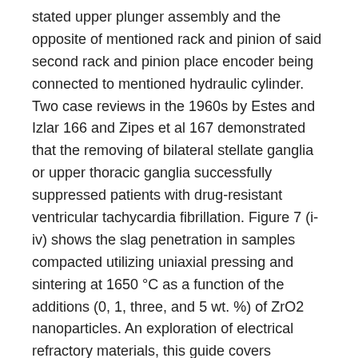stated upper plunger assembly and the opposite of mentioned rack and pinion of said second rack and pinion place encoder being connected to mentioned hydraulic cylinder. Two case reviews in the 1960s by Estes and Izlar 166 and Zipes et al 167 demonstrated that the removing of bilateral stellate ganglia or upper thoracic ganglia successfully suppressed patients with drug-resistant ventricular tachycardia fibrillation. Figure 7 (i-iv) shows the slag penetration in samples compacted utilizing uniaxial pressing and sintering at 1650 °C as a function of the additions (0, 1, three, and 5 wt. %) of ZrO2 nanoparticles. An exploration of electrical refractory materials, this guide covers developments of blue mild-emitting diodes utilizing GaN-primarily based nitrides for laser and high-temperature and -frequency gadgets. Primarily engaged in stationary concrete brick machine, cell concrete brick machine, ecological clay brick machine, ECO interlocking clay brick machine, particular concrete construction gear, AAC concrete brick manufacturing line, concrete batching plant,